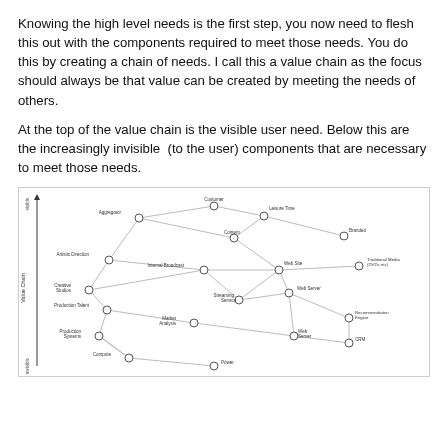Knowing the high level needs is the first step, you now need to flesh this out with the components required to meet those needs. You do this by creating a chain of needs. I call this a value chain as the focus should always be that value can be created by meeting the needs of others.
At the top of the value chain is the visible user need. Below this are the increasingly invisible  (to the user) components that are necessary to meet those needs.
[Figure (network-graph): A value chain network diagram showing nodes connected by lines. Y-axis labeled 'Value Chain' with 'visible' at top and 'invisible' at bottom. Nodes include: Customer, Leisure Time, Branded, Aggregator, Content, Traditional Media (DVDs etc), Artistic Direction, Internal Broadcast, Web Site, Creative Studios, Web Server, Streaming Service, Production Talent, Recommendation Engine, Market Analysis, CRM, Production Systems, Compute, Power.]